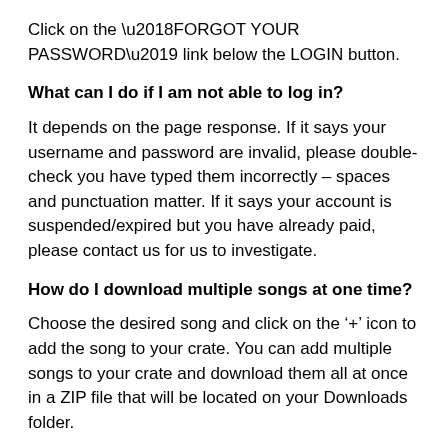Click on the ‘FORGOT YOUR PASSWORD’ link below the LOGIN button.
What can I do if I am not able to log in?
It depends on the page response. If it says your username and password are invalid, please double-check you have typed them incorrectly – spaces and punctuation matter. If it says your account is suspended/expired but you have already paid, please contact us for us to investigate.
How do I download multiple songs at one time?
Choose the desired song and click on the ‘+’ icon to add the song to your crate. You can add multiple songs to your crate and download them all at once in a ZIP file that will be located on your Downloads folder.